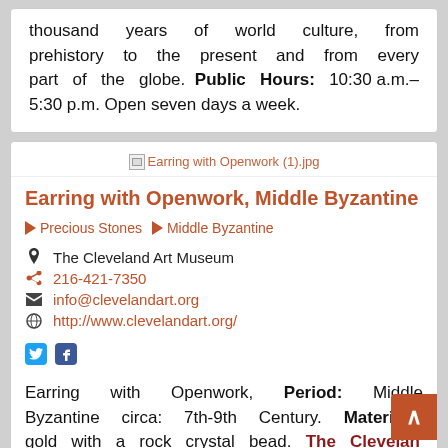thousand years of world culture, from prehistory to the present and from every part of the globe. Public Hours: 10:30 a.m.–5:30 p.m. Open seven days a week.
[Figure (photo): Broken image placeholder labeled 'Earring with Openwork (1).jpg']
Earring with Openwork, Middle Byzantine
Precious Stones   Middle Byzantine
The Cleveland Art Museum
216-421-7350
info@clevelandart.org
http://www.clevelandart.org/
Earring with Openwork, Period: Middle Byzantine circa: 7th-9th Century. Materials: gold with a rock crystal bead. The Cleveland Art Museum Hours: Tuesdays, Thursday